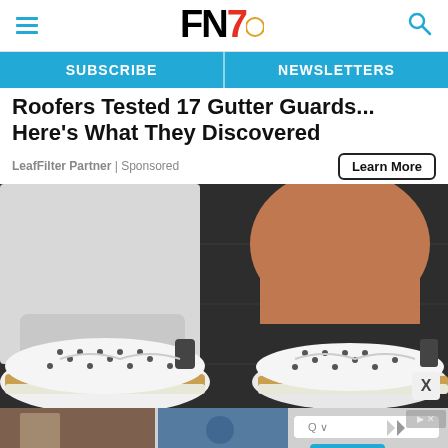FN7 - Footwear News logo with hamburger menu and search icon
SUBSCRIBE | NEWSLETTERS
Roofers Tested 17 Gutter Guards... Here's What They Discovered
LeafFilter Partner | Sponsored
Learn More
[Figure (photo): Close-up of a person's feet wearing white perforated sneakers with gold/tan trim and espadrille-style sole, photographed on a dark cobblestone or pavement surface. The person is wearing white pants/jeans.]
[Figure (screenshot): Bottom advertisement banner showing a hotel/travel booking interface with a search bar and 'Book Now' button, alongside images of what appear to be hotel or travel destination photos.]